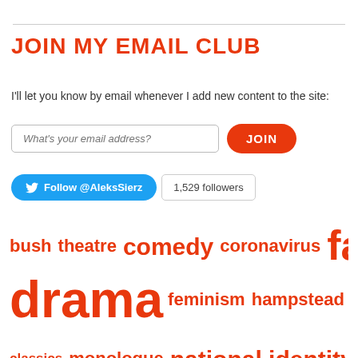JOIN MY EMAIL CLUB
I'll let you know by email whenever I add new content to the site:
[Figure (other): Email signup form with text input placeholder 'What's your email address?' and orange JOIN button]
[Figure (other): Twitter follow button for @AleksSierz with 1,529 followers badge]
bush theatre comedy coronavirus family drama feminism hampstead theatre history plays modern classics monologue national identity national theatre new writing